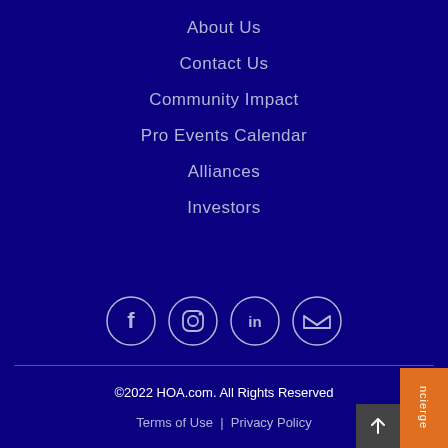About Us
Contact Us
Community Impact
Pro Events Calendar
Alliances
Investors
[Figure (other): Social media icons: Facebook, Instagram, LinkedIn, Twitter — each in a circle outline]
©2022 HOA.com. All Rights Reserved
Terms of Use | Privacy Policy